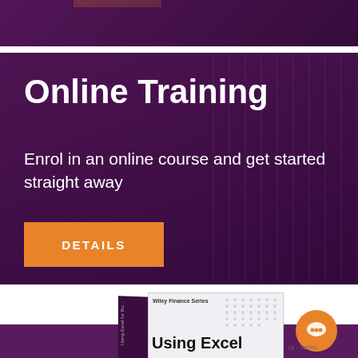[Figure (photo): Top banner with dark purple background and orange bar accent]
[Figure (photo): Online Training promotional banner with dark purple background]
Online Training
Enrol in an online course and get started straight away
DETAILS
[Figure (photo): Book cover: 'Using Excel for Business and...' from Wiley Finance Series, partially shown with purple background section]